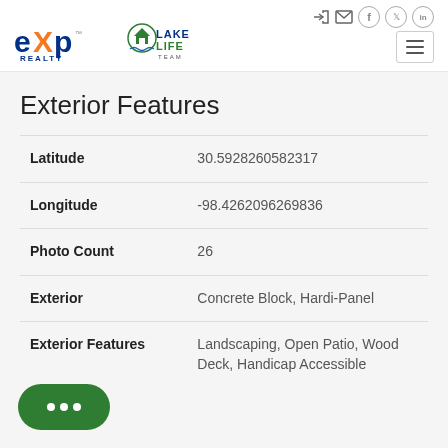eXp Realty / LakeLife Team header with navigation icons
Exterior Features
| Field | Value |
| --- | --- |
| Latitude | 30.5928260582317 |
| Longitude | -98.4262096269836 |
| Photo Count | 26 |
| Exterior | Concrete Block, Hardi-Panel |
| Exterior Features | Landscaping, Open Patio, Wood Deck, Handicap Accessible |